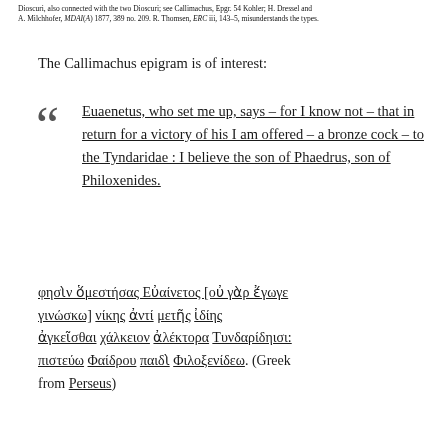Dioscuri, also connected with the two Dioscuri; see Callimachus, Epgr. 54 Kohler; H. Dressel and A. Milchhofer, MDAI(A) 1877, 389 no. 209. R. Thomsen, ERC iii, 143–5, misunderstands the types.
The Callimachus epigram is of interest:
Euaenetus, who set me up, says – for I know not – that in return for a victory of his I am offered – a bronze cock – to the Tyndaridae : I believe the son of Phaedrus, son of Philoxenides.
φησὶν ὅμεστήσας Εὐαίνετος [οὐ γὰρ ἔγωγε γινώσκω] νίκης ἀντί μετῆς ἰδίης ἀγκεῖσθαι χάλκειον ἀλέκτορα Τυνδαρίδηισι: πιστεύω Φαίδρου παιδὶ Φιλοξενίδεω. (Greek from Perseus)